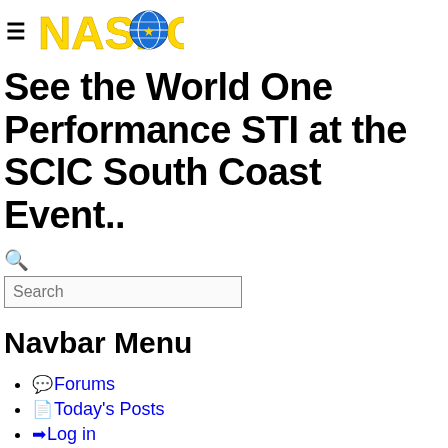NASIOC logo with hamburger menu
See the World One Performance STI at the SCIC South Coast Event..
Search
Navbar Menu
Forums
Today's Posts
Log in
Register
Home / Southern California Impreza Club Forum -- SCIC